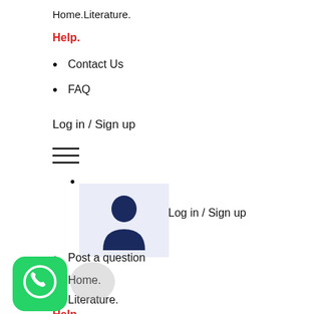Home.Literature.
Help.
Contact Us
FAQ
Log in / Sign up
[Figure (other): Hamburger menu icon (three horizontal lines)]
[Figure (illustration): User silhouette icon on light blue background with Log in / Sign up text]
Post a question
Home.
Literature.
Help.
[Figure (logo): WhatsApp green icon at bottom left]
[Figure (illustration): Grey chat bubble icon partially visible]